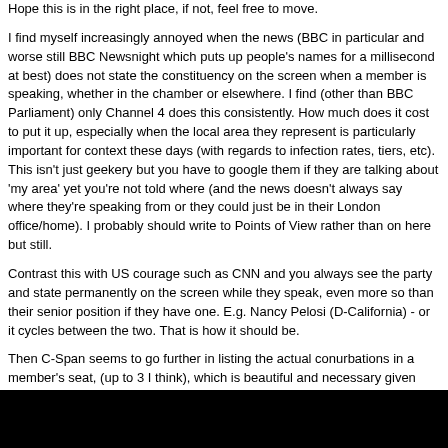Hope this is in the right place, if not, feel free to move.
I find myself increasingly annoyed when the news (BBC in particular and worse still BBC Newsnight which puts up people's names for a millisecond at best) does not state the constituency on the screen when a member is speaking, whether in the chamber or elsewhere. I find (other than BBC Parliament) only Channel 4 does this consistently. How much does it cost to put it up, especially when the local area they represent is particularly important for context these days (with regards to infection rates, tiers, etc). This isn't just geekery but you have to google them if they are talking about 'my area' yet you're not told where (and the news doesn't always say where they're speaking from or they could just be in their London office/home). I probably should write to Points of View rather than on here but still.
Contrast this with US courage such as CNN and you always see the party and state permanently on the screen while they speak, even more so than their senior position if they have one. E.g. Nancy Pelosi (D-California) - or it cycles between the two. That is how it should be.
Then C-Span seems to go further in listing the actual conurbations in a member's seat, (up to 3 I think), which is beautiful and necessary given their naming system.
e.g. AOC
D-New York 12th District (Bronx & Queens)
Adam Schiff D-California
28th District (Glendale, Hollywood(I), Burbank)